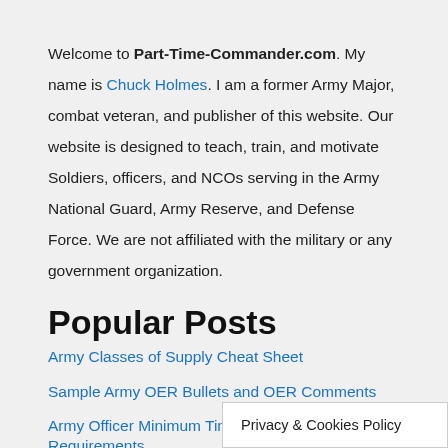Welcome to Part-Time-Commander.com. My name is Chuck Holmes. I am a former Army Major, combat veteran, and publisher of this website. Our website is designed to teach, train, and motivate Soldiers, officers, and NCOs serving in the Army National Guard, Army Reserve, and Defense Force. We are not affiliated with the military or any government organization.
Popular Posts
Army Classes of Supply Cheat Sheet
Sample Army OER Bullets and OER Comments
Army Officer Minimum Time in Grade Requirements
Top 10 Army Marching Cadences
Battalion S1 Duties and Responsibilities and Job Description
Army Stetson Hat: Facts, R... History
Privacy & Cookies Policy